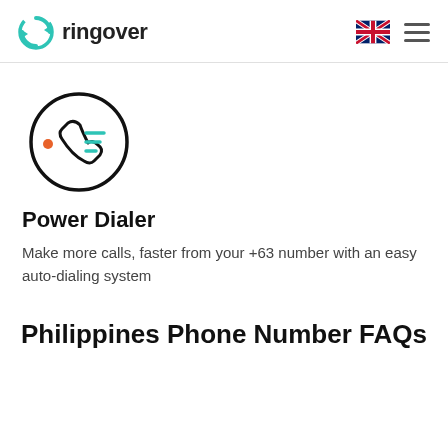ringover
[Figure (logo): Ringover logo: teal circular arrows icon with the text 'ringover' in dark grey]
[Figure (illustration): Phone handset icon inside a circle with teal horizontal lines and an orange dot, representing a power dialer feature]
Power Dialer
Make more calls, faster from your +63 number with an easy auto-dialing system
Philippines Phone Number FAQs